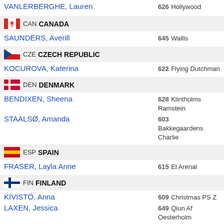VANLERBERGHE, Lauren  626 Hollywood
CAN CANADA
SAUNDERS, Averill  645 Wallis
CZE CZECH REPUBLIC
KOCUROVA, Katerina  622 Flying Dutchman
DEN DENMARK
BENDIXEN, Sheena  628 Klintholms Ramstein
STAALSØ, Amanda  603 Bakkegaardens Charlie
ESP SPAIN
FRASER, Layla Anne  615 El Arenal
FIN FINLAND
KIVISTÖ, Anna  609 Christmas PS Z
LAXEN, Jessica  649 Qiun Af Oesterholm
FRA FRANCE
MOUTINHO, Manon  637 Saitiri
GBR GREAT BRITAIN